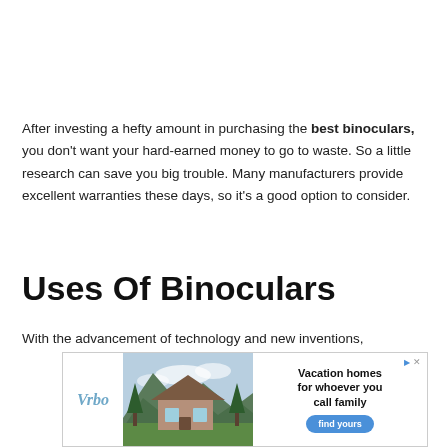After investing a hefty amount in purchasing the best binoculars, you don't want your hard-earned money to go to waste. So a little research can save you big trouble. Many manufacturers provide excellent warranties these days, so it's a good option to consider.
Uses Of Binoculars
With the advancement of technology and new inventions,
[Figure (other): Advertisement banner for Vrbo vacation home rentals. Shows Vrbo logo on left, mountain cabin photo in center, and text 'Vacation homes for whoever you call family' with a 'find yours' button on right.]